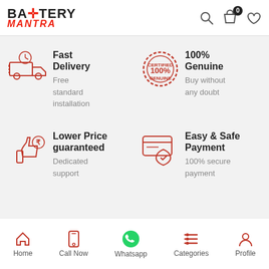[Figure (logo): Battery Mantra logo with BATTERY in black bold and MANTRA in red italic below]
[Figure (illustration): Search icon, shopping bag icon with 0 badge, heart icon in header]
Fast Delivery
Free standard installation
100% Genuine
Buy without any doubt
Lower Price guaranteed
Dedicated support
Easy & Safe Payment
100% secure payment
Home  Call Now  Whatsapp  Categories  Profile